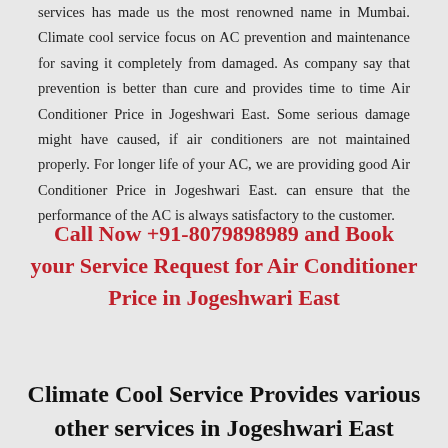services has made us the most renowned name in Mumbai. Climate cool service focus on AC prevention and maintenance for saving it completely from damaged. As company say that prevention is better than cure and provides time to time Air Conditioner Price in Jogeshwari East. Some serious damage might have caused, if air conditioners are not maintained properly. For longer life of your AC, we are providing good Air Conditioner Price in Jogeshwari East. can ensure that the performance of the AC is always satisfactory to the customer.
Call Now +91-8079898989 and Book your Service Request for Air Conditioner Price in Jogeshwari East
Climate Cool Service Provides various other services in Jogeshwari East